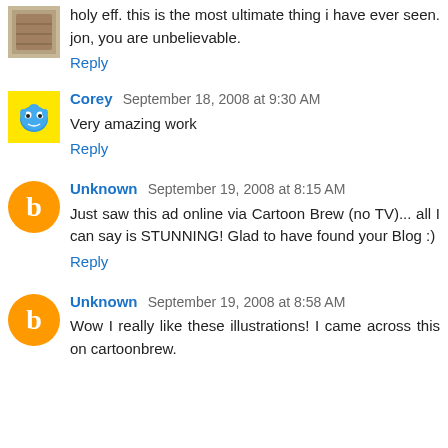holy eff. this is the most ultimate thing i have ever seen. jon, you are unbelievable.
Reply
Corey September 18, 2008 at 9:30 AM
Very amazing work
Reply
Unknown September 19, 2008 at 8:15 AM
Just saw this ad online via Cartoon Brew (no TV)... all I can say is STUNNING! Glad to have found your Blog :)
Reply
Unknown September 19, 2008 at 8:58 AM
Wow I really like these illustrations! I came across this on cartoonbrew.